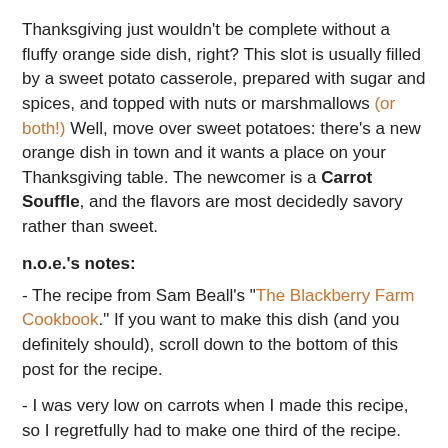Thanksgiving just wouldn't be complete without a fluffy orange side dish, right? This slot is usually filled by a sweet potato casserole, prepared with sugar and spices, and topped with nuts or marshmallows (or both!) Well, move over sweet potatoes: there's a new orange dish in town and it wants a place on your Thanksgiving table. The newcomer is a Carrot Souffle, and the flavors are most decidedly savory rather than sweet.
n.o.e.'s notes:
- The recipe from Sam Beall's "The Blackberry Farm Cookbook." If you want to make this dish (and you definitely should), scroll down to the bottom of this post for the recipe.
- I was very low on carrots when I made this recipe, so I regretfully had to make one third of the recipe.
- I prepared this dish gluten-free, so I eliminated the cracker crumbs. I intended to add a bit of almond flour and maybe some coconut flour, but totally forgot. The souffle turned out with a lovely texture even without the crumbs.